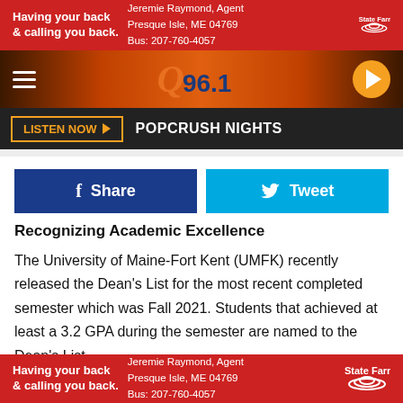[Figure (screenshot): State Farm advertisement banner: red background with white text 'Having your back & calling you back.' Agent info: Jeremie Raymond, Agent, Presque Isle, ME 04769, Bus: 207-760-4057. State Farm logo top right.]
[Figure (logo): Q96.1 radio station logo on orange-brown gradient header with hamburger menu and play button]
LISTEN NOW ▶  POPCRUSH NIGHTS
[Figure (infographic): Facebook Share button (dark blue) and Twitter Tweet button (light blue)]
Recognizing Academic Excellence
The University of Maine-Fort Kent (UMFK) recently released the Dean's List for the most recent completed semester which was Fall 2021. Students that achieved at least a 3.2 GPA during the semester are named to the Dean's List.
A word from President Hedeen
[Figure (screenshot): State Farm advertisement banner at bottom: red background with white text 'Having your back & calling you back.' Agent info: Jeremie Raymond, Agent, Presque Isle, ME 04769, Bus: 207-760-4057. State Farm logo right.]